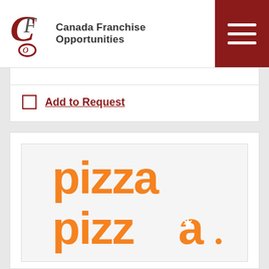Canada Franchise Opportunities
Add to Request
[Figure (logo): Pizza Pizza logo in orange with a maple leaf inside the second letter a of the second 'pizza']
Pizza Pizza
As a leader and innovator in the quick service restaurant industry since 1967, Pizza Pizza is committed to quality,